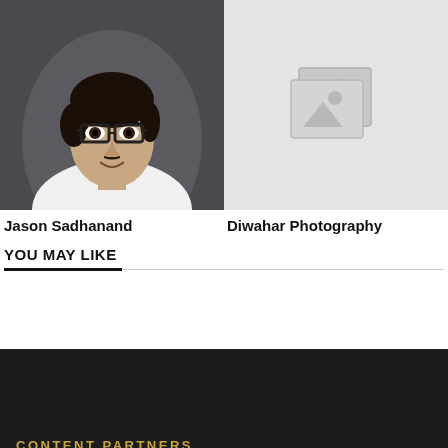[Figure (photo): Portrait photo of Jason Sadhanand, a young man with glasses and dark hair wearing a white shirt, against a dark grey background]
[Figure (photo): Placeholder image icon on light grey background representing Diwahar Photography]
Jason Sadhanand
Diwahar Photography
YOU MAY LIKE
CONTENT PARTNERS